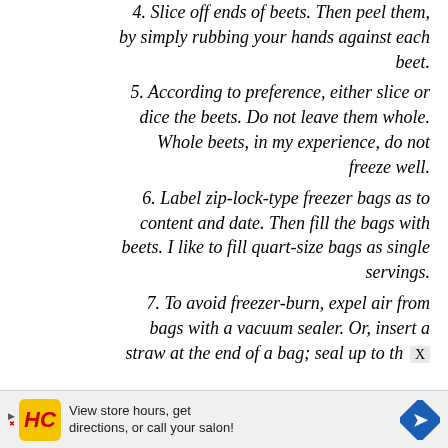4. Slice off ends of beets. Then peel them, by simply rubbing your hands against each beet.
5. According to preference, either slice or dice the beets. Do not leave them whole. Whole beets, in my experience, do not freeze well.
6. Label zip-lock-type freezer bags as to content and date. Then fill the bags with beets. I like to fill quart-size bags as single servings.
7. To avoid freezer-burn, expel air from bags with a vacuum sealer. Or, insert a straw at the end of a bag; seal up to th
[Figure (infographic): Advertisement banner with HC logo, text 'View store hours, get directions, or call your salon!' and a blue diamond arrow icon.]